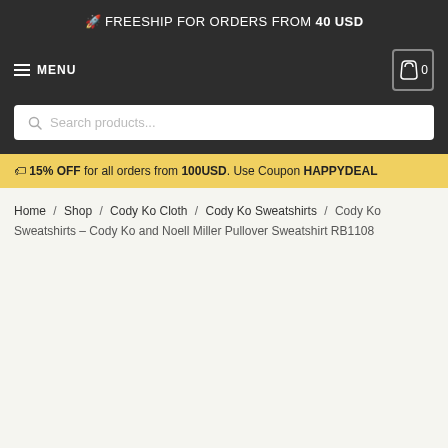🚀 FREESHIP FOR ORDERS FROM 40 USD
≡ MENU  |  Cart 0
Search products...
🏷 15% OFF for all orders from 100USD. Use Coupon HAPPYDEAL
Home / Shop / Cody Ko Cloth / Cody Ko Sweatshirts / Cody Ko Sweatshirts – Cody Ko and Noell Miller Pullover Sweatshirt RB1108